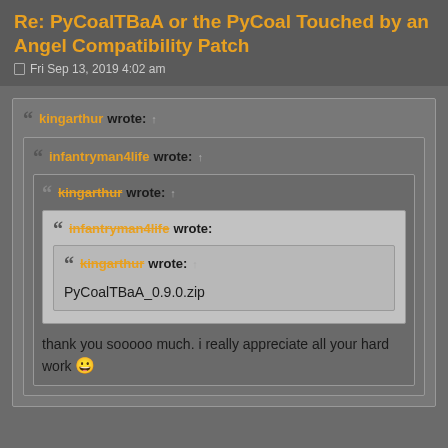Re: PyCoalTBaA or the PyCoal Touched by an Angel Compatibility Patch
Fri Sep 13, 2019 4:02 am
kingarthur wrote: ↑
  infantryman4life wrote: ↑
    kingarthur wrote: ↑
      infantryman4life wrote:
        kingarthur wrote: ↑
          PyCoalTBaA_0.9.0.zip
        thank you sooooo much. i really appreciate all your hard work 😀